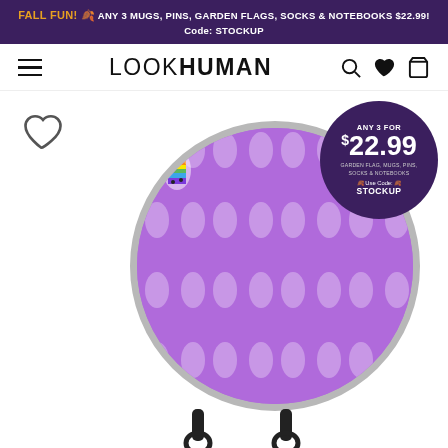FALL FUN! 🍂 ANY 3 MUGS, PINS, GARDEN FLAGS, SOCKS & NOTEBOOKS $22.99!
Code: STOCKUP
[Figure (logo): LookHuman logo with hamburger menu and nav icons (search, heart, cart)]
[Figure (photo): Round enamel pin featuring rainbow boba tea cups pattern on purple background, shown with black clasps at bottom. Promotional badge overlay shows 'ANY 3 FOR $22.99 GARDEN FLAG, MUGS, PINS, SOCKS & NOTEBOOKS Use Code: STOCKUP']